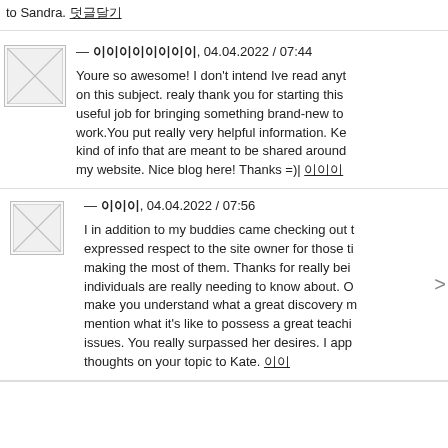to Sandra. 덧글달기
— 이이이이, 04.04.2022 / 07:44
Youre so awesome! I don't intend Ive read anything like this on this subject. realy thank you for starting this up. this web site is something that is needed on-the internet, someone with a little uniqueness! Good job for bringing something new to the internet! 덧글달기
— 이이, 04.04.2022 / 07:56
I in addition to my buddies came checking out the great helpful hints found on your web page and suddenly came up with an awful suspicion I never expressed respect to the site owner for those tips. 덧글달기